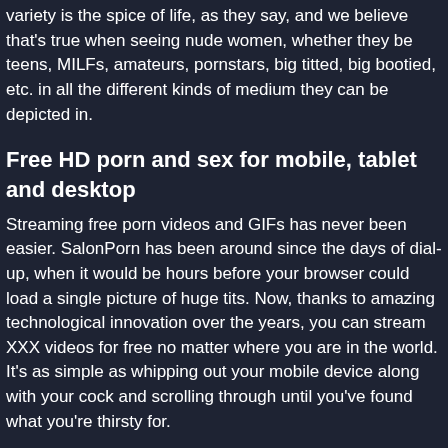variety is the spice of life, as they say, and we believe that's true when seeing nude women, whether they be teens, MILFs, amateurs, pornstars, big titted, big bootied, etc. in all the different kinds of medium they can be depicted in.
Free HD porn and sex for mobile, tablet and desktop
Streaming free porn videos and GIFs has never been easier. SalonPorn has been around since the days of dial-up, when it would be hours before your browser could load a single picture of huge tits. Now, thanks to amazing technological innovation over the years, you can stream XXX videos for free no matter where you are in the world. It's as simple as whipping out your mobile device along with your cock and scrolling through until you've found what you're thirsty for.
And it's a good thing that you can access SalonPorn